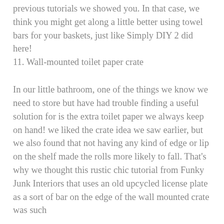previous tutorials we showed you. In that case, we think you might get along a little better using towel bars for your baskets, just like Simply DIY 2 did here!
11. Wall-mounted toilet paper crate
In our little bathroom, one of the things we know we need to store but have had trouble finding a useful solution for is the extra toilet paper we always keep on hand! we liked the crate idea we saw earlier, but we also found that not having any kind of edge or lip on the shelf made the rolls more likely to fall. That's why we thought this rustic chic tutorial from Funky Junk Interiors that uses an old upcycled license plate as a sort of bar on the edge of the wall mounted crate was such